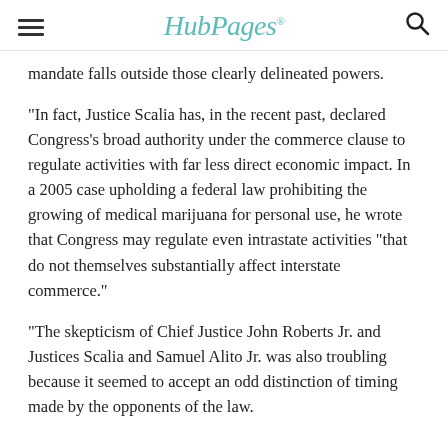HubPages
g ... mandate falls outside those clearly delineated powers.
"In fact, Justice Scalia has, in the recent past, declared Congress’s broad authority under the commerce clause to regulate activities with far less direct economic impact. In a 2005 case upholding a federal law prohibiting the growing of medical marijuana for personal use, he wrote that Congress may regulate even intrastate activities “that do not themselves substantially affect interstate commerce.”
"The skepticism of Chief Justice John Roberts Jr. and Justices Scalia and Samuel Alito Jr. was also troubling because it seemed to accept an odd distinction of timing made by the opponents of the law.